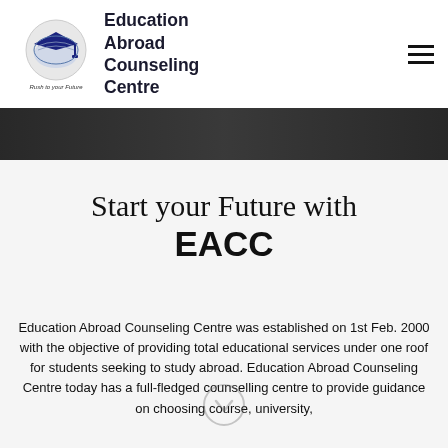[Figure (logo): Education Abroad Counseling Centre logo with graduation cap icon and globe, tagline 'Rush to your Future']
Education Abroad Counseling Centre
[Figure (photo): Dark hero image strip at the top of the page content area]
Start your Future with EACC
Education Abroad Counseling Centre was established on 1st Feb. 2000 with the objective of providing total educational services under one roof for students seeking to study abroad. Education Abroad Counseling Centre today has a full-fledged counselling centre to provide guidance on choosing course, university,